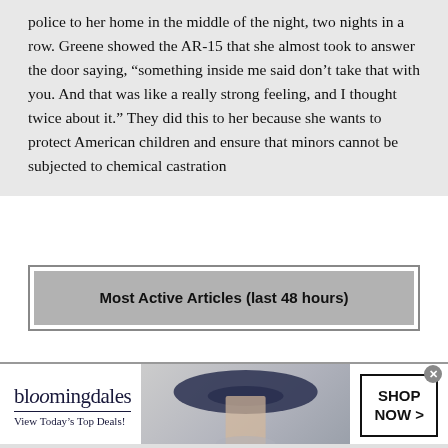police to her home in the middle of the night, two nights in a row. Greene showed the AR-15 that she almost took to answer the door saying, “something inside me said don’t take that with you. And that was like a really strong feeling, and I thought twice about it.” They did this to her because she wants to protect American children and ensure that minors cannot be subjected to chemical castration
Most Active Articles (last 48 hours)
[Figure (other): Bloomingdale's advertisement banner showing logo, tagline 'View Today's Top Deals!', a woman in a wide-brim hat, and a 'SHOP NOW >' button]